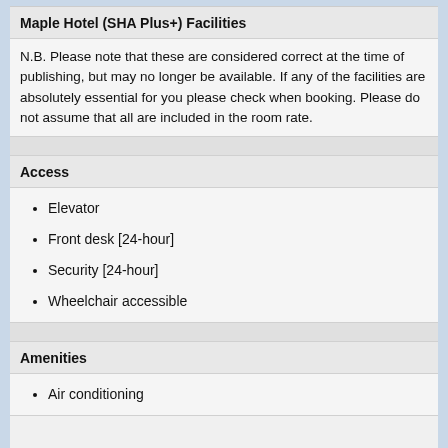Maple Hotel (SHA Plus+) Facilities
N.B. Please note that these are considered correct at the time of publishing, but may no longer be available. If any of the facilities are absolutely essential for you please check when booking. Please do not assume that all are included in the room rate.
Access
Elevator
Front desk [24-hour]
Security [24-hour]
Wheelchair accessible
Amenities
Air conditioning